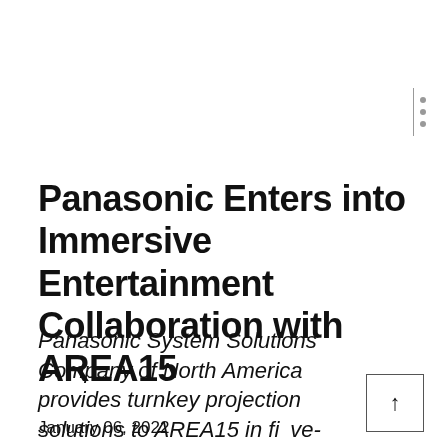Panasonic Enters into Immersive Entertainment Collaboration with AREA15
Panasonic System Solutions Company of North America provides turnkey projection solutions to AREA15 in five-year collaboration
January 06, 2022